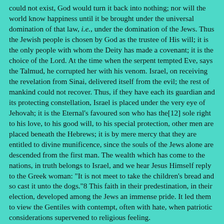could not exist, God would turn it back into nothing; nor will the world know happiness until it be brought under the universal domination of that law, i.e., under the domination of the Jews. Thus the Jewish people is chosen by God as the trustee of His will; it is the only people with whom the Deity has made a covenant; it is the choice of the Lord. At the time when the serpent tempted Eve, says the Talmud, he corrupted her with his venom. Israel, on receiving the revelation from Sinai, delivered itself from the evil; the rest of mankind could not recover. Thus, if they have each its guardian and its protecting constellation, Israel is placed under the very eye of Jehovah; it is the Eternal's favoured son who has the[12] sole right to his love, to his good will, to his special protection, other men are placed beneath the Hebrews; it is by mere mercy that they are entitled to divine munificence, since the souls of the Jews alone are descended from the first man. The wealth which has come to the nations, in truth belongs to Israel, and we hear Jesus Himself reply to the Greek woman: "It is not meet to take the children's bread and so cast it unto the dogs."8 This faith in their predestination, in their election, developed among the Jews an immense pride. It led them to view the Gentiles with contempt, often with hate, when patriotic considerations supervened to religious feeling.
When Jewish nationality was in peril, the Pharisees, under John Hyrcanus, declared impure the soil of strange peoples, as well as